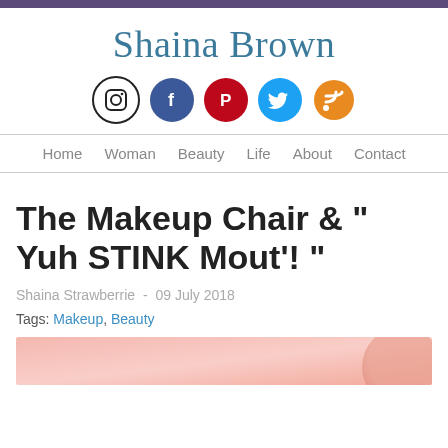Shaina Brown
[Figure (illustration): Social media icons: Instagram (black outline), Facebook (blue), Pinterest (red), Twitter (blue), RSS (orange)]
Home  Woman  Beauty  Life  About  Contact
The Makeup Chair & " Yuh STINK Mout'! "
Shaina Strawberrie - 09 July 2018
Tags: Makeup, Beauty
[Figure (photo): Partial pink-toned image at the bottom, likely a beauty/makeup related photo]